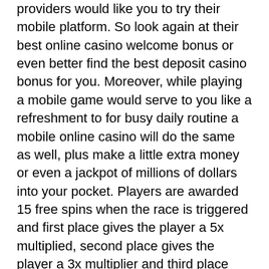providers would like you to try their mobile platform. So look again at their best online casino welcome bonus or even better find the best deposit casino bonus for you. Moreover, while playing a mobile game would serve to you like a refreshment to for busy daily routine a mobile online casino will do the same as well, plus make a little extra money or even a jackpot of millions of dollars into your pocket. Players are awarded 15 free spins when the race is triggered and first place gives the player a 5x multiplied, second place gives the player a 3x multiplier and third place gives the player a 2x multiplier, minecraft slot machine mod 1.12.2 reddit mg498. Table games, together with slots, are the mainstay of gambling sites, casino management systems gaming. Wild joker casino bonus codes ➤ exclusive 65 no deposit free spins ✓ $3390 match bonus ✓ play hundreds of slots for free. Com official